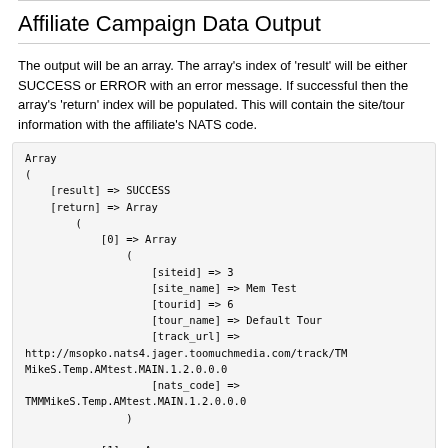Affiliate Campaign Data Output
The output will be an array. The array's index of 'result' will be either SUCCESS or ERROR with an error message. If successful then the array's 'return' index will be populated. This will contain the site/tour information with the affiliate's NATS code.
Array
(
    [result] => SUCCESS
    [return] => Array
        (
            [0] => Array
                (
                    [siteid] => 3
                    [site_name] => Mem Test
                    [tourid] => 6
                    [tour_name] => Default Tour
                    [track_url] =>
http://msopko.nats4.jager.toomuchmedia.com/track/TMMikeS.Temp.AMtest.MAIN.1.2.0.0.0
                    [nats_code] =>
TMMMikeS.Temp.AMtest.MAIN.1.2.0.0.0
                )

            [1] => Array
                (
                    [siteid] => 2